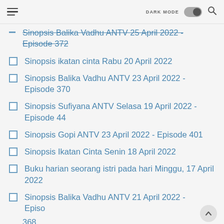DARK MODE [toggle] [search]
Sinopsis Balika Vadhu ANTV 25 April 2022 - Episode 372
Sinopsis ikatan cinta Rabu 20 April 2022
Sinopsis Balika Vadhu ANTV 23 April 2022 - Episode 370
Sinopsis Sufiyana ANTV Selasa 19 April 2022 - Episode 44
Sinopsis Gopi ANTV 23 April 2022 - Episode 401
Sinopsis Ikatan Cinta Senin 18 April 2022
Buku harian seorang istri pada hari Minggu, 17 April 2022
Sinopsis Balika Vadhu ANTV 21 April 2022 - Episode 368